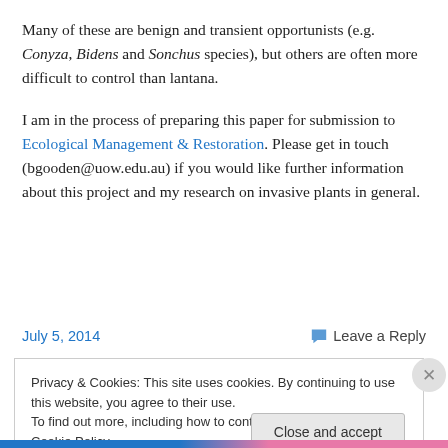Many of these are benign and transient opportunists (e.g. Conyza, Bidens and Sonchus species), but others are often more difficult to control than lantana.
I am in the process of preparing this paper for submission to Ecological Management & Restoration. Please get in touch (bgooden@uow.edu.au) if you would like further information about this project and my research on invasive plants in general.
July 5, 2014
Leave a Reply
Privacy & Cookies: This site uses cookies. By continuing to use this website, you agree to their use.
To find out more, including how to control cookies, see here: Cookie Policy
Close and accept